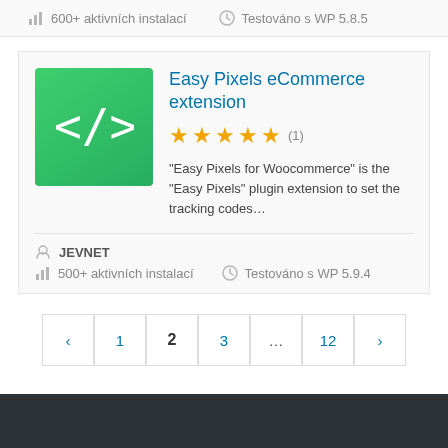600+ aktivních instalací   Testováno s WP 5.8.5
Easy Pixels eCommerce extension
[Figure (logo): Green code icon with </> symbols]
★★★★★ (1)
"Easy Pixels for Woocommerce" is the "Easy Pixels" plugin extension to set the tracking codes...
JEVNET
500+ aktivních instalací   Testováno s WP 5.9.4
‹ 1 2 3 ... 12 ›